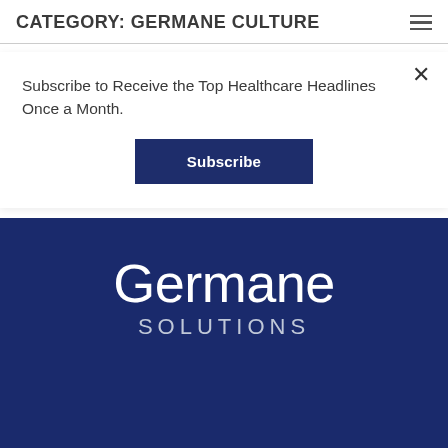CATEGORY: GERMANE CULTURE
Subscribe to Receive the Top Healthcare Headlines Once a Month.
Subscribe
[Figure (logo): Germane Solutions logo — white text 'Germane' in large light font and 'SOLUTIONS' in smaller spaced uppercase, on a dark navy blue background.]